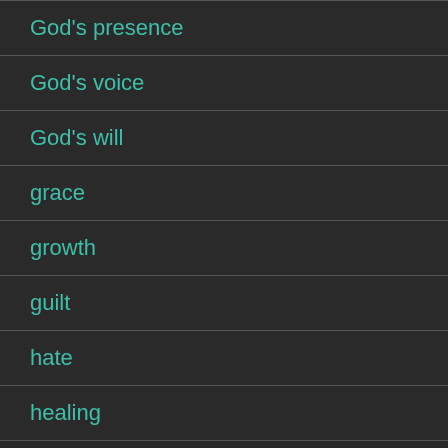God's presence
God's voice
God's will
grace
growth
guilt
hate
healing